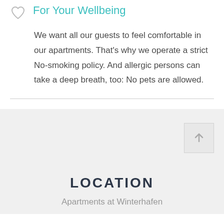For Your Wellbeing
We want all our guests to feel comfortable in our apartments. That's why we operate a strict No-smoking policy. And allergic persons can take a deep breath, too: No pets are allowed.
LOCATION
Apartments at Winterhafen